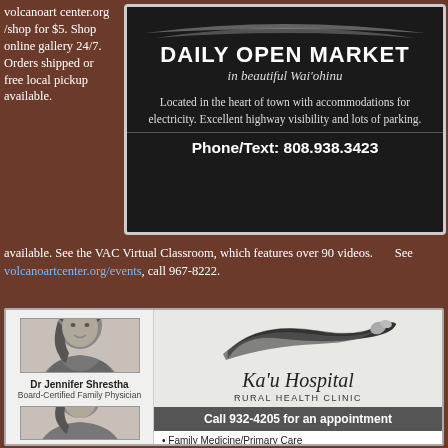volcanoartcenter.org/shop for $5. Shop online gallery 24/7. Orders shipped or free local pickup available. See the VAC Virtual Classroom, which features over 90 videos. See volcanoartcenter.org/events, call 967-8222.
[Figure (infographic): Daily Open Market advertisement in beautiful Wai'ohinu. Black background with decorative banner. Text: 'Located in the heart of town with accommodations for electricity. Excellent highway visibility and lots of parking. Phone/Text: 808.938.3423']
[Figure (infographic): Ka'u Hospital Rural Health Clinic advertisement. Shows Dr Jennifer Shrestha Board-Certified Family Physician photo. Logo with decorative swirl. Call 932-4205 for an appointment. Services: Family Medicine/Primary Care, Well-child check-ups]